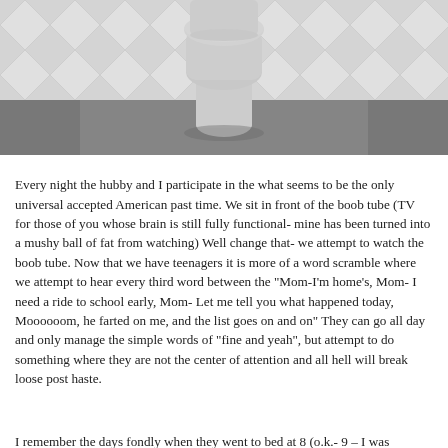[Figure (photo): A photograph of a white toilet in a bathroom with geometric white tile walls and a gray concrete floor, viewed from the front at floor level.]
Every night the hubby and I participate in the what seems to be the only universal accepted American past time.  We sit in front of the boob tube (TV for those of you whose brain is still fully functional- mine has been turned into a mushy ball of fat from watching)  Well change that- we attempt to watch the boob tube.  Now that we have teenagers it is more of a word scramble where we attempt to hear every third word between the "Mom-I'm home's, Mom- I need a ride to school early, Mom- Let me tell you what happened today, Moooooom, he farted on me, and the list goes on and on" They can go all day and only manage the simple words of "fine and yeah", but attempt to do something  where they are not the center of attention and all hell will break loose post haste.
I remember the days fondly when they went to bed at 8 (o.k.- 9 – I was